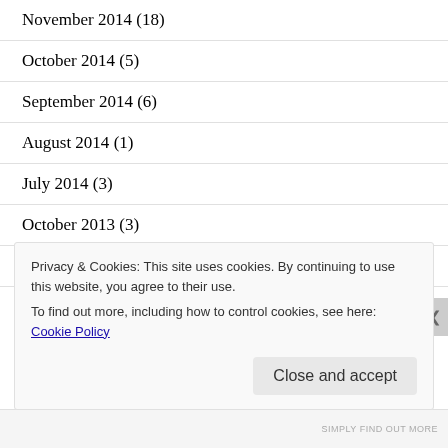November 2014 (18)
October 2014 (5)
September 2014 (6)
August 2014 (1)
July 2014 (3)
October 2013 (3)
June 2013 (3)
Privacy & Cookies: This site uses cookies. By continuing to use this website, you agree to their use.
To find out more, including how to control cookies, see here: Cookie Policy
Close and accept